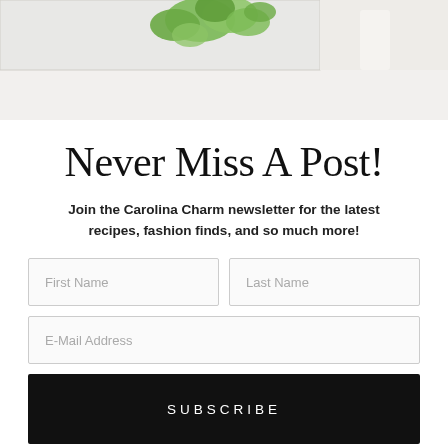[Figure (photo): Top banner showing a plant with green leaves on a white surface or shelf, partially cropped]
Never Miss A Post!
Join the Carolina Charm newsletter for the latest recipes, fashion finds, and so much more!
First Name
Last Name
E-Mail Address
SUBSCRIBE